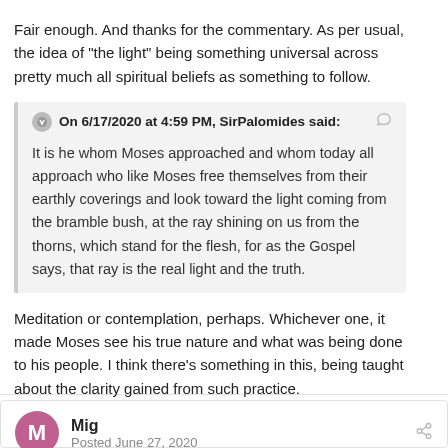Fair enough. And thanks for the commentary. As per usual, the idea of "the light" being something universal across pretty much all spiritual beliefs as something to follow.
On 6/17/2020 at 4:59 PM, SirPalomides said:
It is he whom Moses approached and whom today all approach who like Moses free themselves from their earthly coverings and look toward the light coming from the bramble bush, at the ray shining on us from the thorns, which stand for the flesh, for as the Gospel says, that ray is the real light and the truth.
Meditation or contemplation, perhaps. Whichever one, it made Moses see his true nature and what was being done to his people. I think there’s something in this, being taught about the clarity gained from such practice.
Mig
Posted June 27, 2020